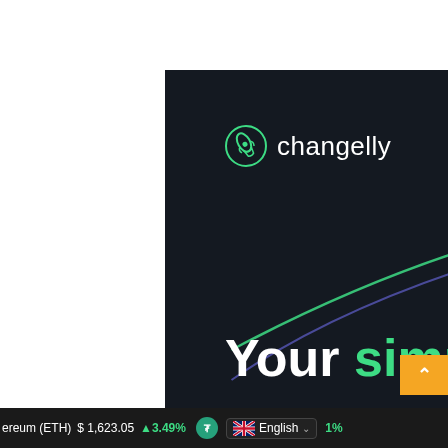[Figure (screenshot): Changelly crypto exchange advertisement banner with dark background, rocket logo, decorative curved lines in green and blue, tagline 'Your simple access to crypto', green Exchange button, and a bottom ticker bar showing Ethereum (ETH) $1,623.05 +3.49% and English language selector.]